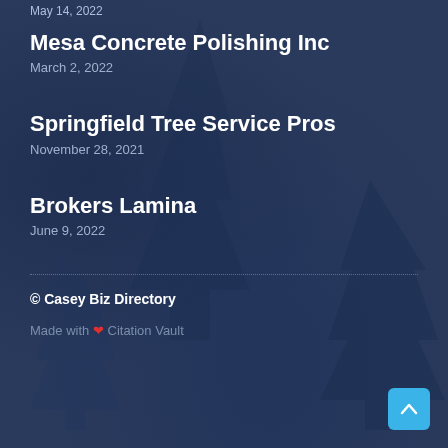May 14, 2022
Mesa Concrete Polishing Inc
March 2, 2022
Springfield Tree Service Pros
November 28, 2021
Brokers Lamina
June 9, 2022
© Casey Biz Directory
Made with ❤ Citation Vault